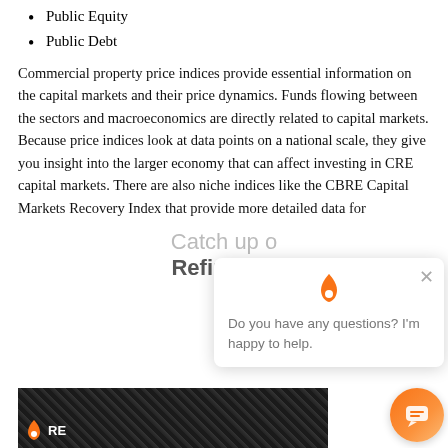Public Equity
Public Debt
Commercial property price indices provide essential information on the capital markets and their price dynamics. Funds flowing between the sectors and macroeconomics are directly related to capital markets. Because price indices look at data points on a national scale, they give you insight into the larger economy that can affect investing in CRE capital markets. There are also niche indices like the CBRE Capital Markets Recovery Index that provide more detailed data for
Catch up o
RefineRE:
[Figure (photo): Black and white photo of commercial building facade with grid-like windows, with RefineRE logo (flame icon and RE text in white) in lower left corner]